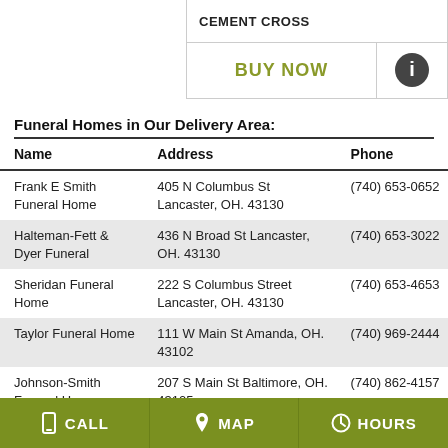CEMENT CROSS
BUY NOW
Funeral Homes in Our Delivery Area:
| Name | Address | Phone |
| --- | --- | --- |
| Frank E Smith Funeral Home | 405 N Columbus St Lancaster, OH. 43130 | (740) 653-0652 |
| Halteman-Fett & Dyer Funeral | 436 N Broad St Lancaster, OH. 43130 | (740) 653-3022 |
| Sheridan Funeral Home | 222 S Columbus Street Lancaster, OH. 43130 | (740) 653-4653 |
| Taylor Funeral Home | 111 W Main St Amanda, OH. 43102 | (740) 969-2444 |
| Johnson-Smith Funeral Home | 207 S Main St Baltimore, OH. 43105 | (740) 862-4157 |
CALL   MAP   HOURS